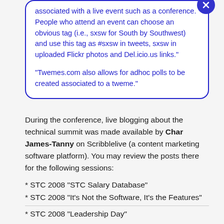associated with a live event such as a conference. People who attend an event can choose an obvious tag (i.e., sxsw for South by Southwest) and use this tag as #sxsw in tweets, sxsw in uploaded Flickr photos and Del.icio.us links."

"Twemes.com also allows for adhoc polls to be created associated to a tweme."
During the conference, live blogging about the technical summit was made available by Char James-Tanny on Scribblelive (a content marketing software platform). You may review the posts there for the following sessions:
* STC 2008 “STC Salary Database”
* STC 2008 “It’s Not the Software, It’s the Features”
* STC 2008 “Leadership Day”